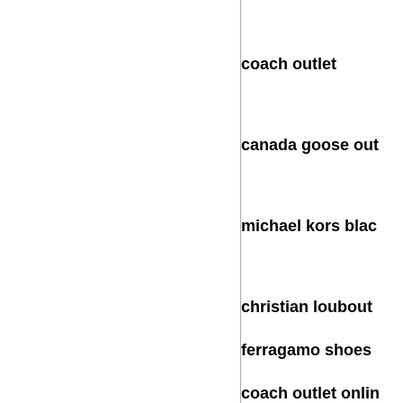coach outlet
canada goose out
michael kors blac
christian loubout
ferragamo shoes
coach outlet onlin